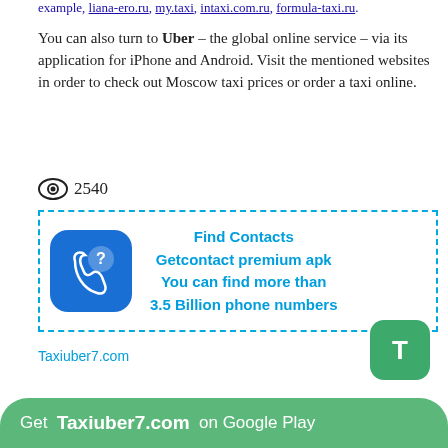example, liana-ero.ru, my.taxi, intaxi.com.ru, formula-taxi.ru.
You can also turn to Uber – the global online service – via its application for iPhone and Android. Visit the mentioned websites in order to check out Moscow taxi prices or order a taxi online.
👁 2540
[Figure (infographic): Advertisement box with dashed blue border containing a blue rounded-square icon with a phone and question mark, and text: Find Contacts / Getcontact premium apk / You can find more than / 3.5 Billion phone numbers]
Taxiuber7.com
[Figure (other): Green rounded square button with letter T]
Get Taxiuber7.com on Google Play